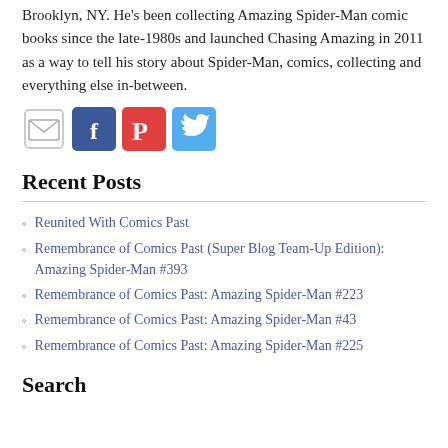Brooklyn, NY. He's been collecting Amazing Spider-Man comic books since the late-1980s and launched Chasing Amazing in 2011 as a way to tell his story about Spider-Man, comics, collecting and everything else in-between.
[Figure (infographic): Four social media icons in a row: email (envelope), Facebook (blue f), Pinterest (red P), Twitter (blue bird)]
Recent Posts
Reunited With Comics Past
Remembrance of Comics Past (Super Blog Team-Up Edition): Amazing Spider-Man #393
Remembrance of Comics Past: Amazing Spider-Man #223
Remembrance of Comics Past: Amazing Spider-Man #43
Remembrance of Comics Past: Amazing Spider-Man #225
Search